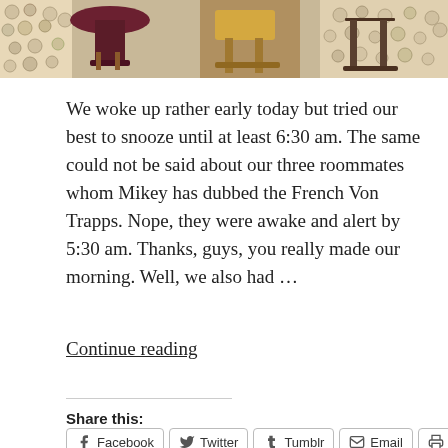[Figure (photo): Partial photo of a cafe/restaurant interior showing stools and chairs against a decorative wall with circular patterns]
We woke up rather early today but tried our best to snooze until at least 6:30 am. The same could not be said about our three roommates whom Mikey has dubbed the French Von Trapps. Nope, they were awake and alert by 5:30 am. Thanks, guys, you really made our morning. Well, we also had ...
Continue reading
Share this:
Facebook  Twitter  Tumblr  Email  Print
Like
One blogger likes this.